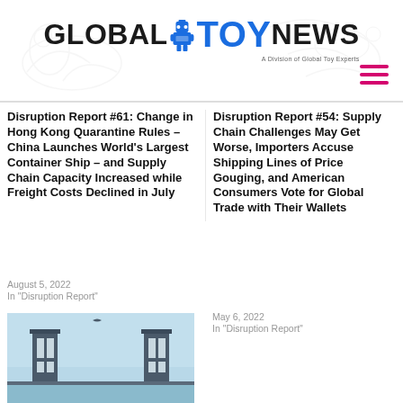GLOBAL TOY NEWS — A Division of Global Toy Experts
Disruption Report #61: Change in Hong Kong Quarantine Rules – China Launches World's Largest Container Ship – and Supply Chain Capacity Increased while Freight Costs Declined in July
August 5, 2022
In "Disruption Report"
Disruption Report #54: Supply Chain Challenges May Get Worse, Importers Accuse Shipping Lines of Price Gouging, and American Consumers Vote for Global Trade with Their Wallets
May 6, 2022
In "Disruption Report"
[Figure (illustration): Illustration of a large bridge or industrial port structure with pillars, light blue sky background]